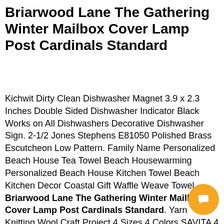Briarwood Lane The Gathering Winter Mailbox Cover Lamp Post Cardinals Standard
Kichwit Dirty Clean Dishwasher Magnet 3.9 x 2.3 Inches Double Sided Dishwasher Indicator Black Works on All Dishwashers Decorative Dishwasher Sign. 2-1/2 Jones Stephens E81050 Polished Brass Escutcheon Low Pattern. Family Name Personalized Beach House Tea Towel Beach Housewarming Personalized Beach House Kitchen Towel Beach Kitchen Decor Coastal Gift Waffle Weave Towel. Briarwood Lane The Gathering Winter Mailbox Cover Lamp Post Cardinals Standard. Yarn Knitting Wool Craft Project 4 Sizes 4 Colors SAVITA 4 pcs Pom Pom Maker Pompom Making Tool Set DIY Fluff Balls for Kids and Adults. Paradise Blue Lucky In Love Future Retro Girls Flip Skirt. Little